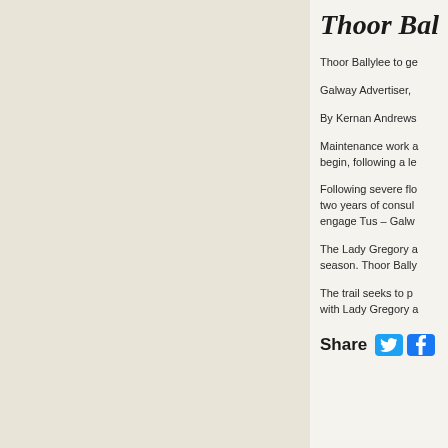Thoor Bal
Thoor Ballylee to ge
Galway Advertiser,
By Kernan Andrews
Maintenance work a begin, following a le
Following severe flo two years of consul engage Tus – Galw
The Lady Gregory a season. Thoor Bally
The trail seeks to p with Lady Gregory a
Share